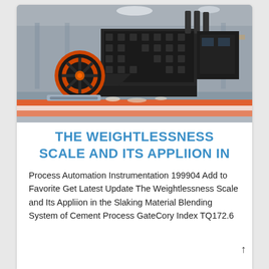[Figure (photo): Industrial impact crusher / hammer mill machine on a factory floor, predominantly dark/black body with an orange flywheel on the left side, set against a large industrial warehouse interior with overhead lighting. Orange and white decorative base at bottom of image.]
THE WEIGHTLESSNESS SCALE AND ITS APPLIION IN
Process Automation Instrumentation 199904 Add to Favorite Get Latest Update The Weightlessness Scale and Its Appliion in the Slaking Material Blending System of Cement Process GateCory Index TQ172.6